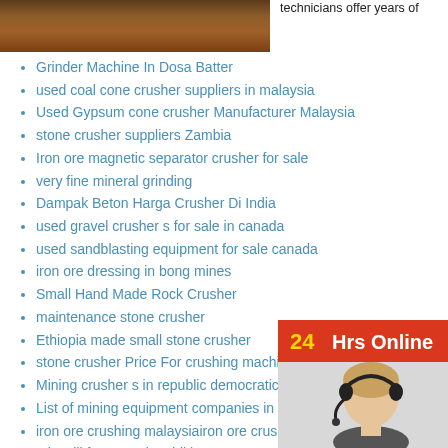[Figure (photo): Close-up photo of crushed rock or gravel material, brownish-red tones]
technicians offer years of
Grinder Machine In Dosa Batter
used coal cone crusher suppliers in malaysia
Used Gypsum cone crusher Manufacturer Malaysia
stone crusher suppliers Zambia
Iron ore magnetic separator crusher for sale
very fine mineral grinding
Dampak Beton Harga Crusher Di India
used gravel crusher s for sale in canada
used sandblasting equipment for sale canada
iron ore dressing in bong mines
Small Hand Made Rock Crusher
maintenance stone crusher
Ethiopia made small stone crusher
stone crusher Price For crushing machine concrete
Mining crusher s in republic democratic du congo
List of mining equipment companies in uk
iron ore crushing malaysiairon ore crushing module
talc mill for ceramic additives
Components Used In Ball grinding machine
concrete crushing cheshire uk
[Figure (infographic): 24Hrs Online badge in red with yellow '24' and white 'Hrs Online' text, with a woman wearing a headset below]